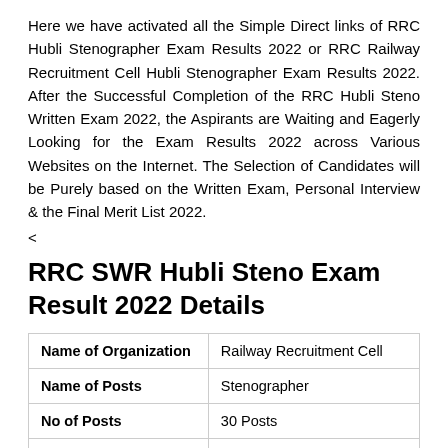Here we have activated all the Simple Direct links of RRC Hubli Stenographer Exam Results 2022 or RRC Railway Recruitment Cell Hubli Stenographer Exam Results 2022. After the Successful Completion of the RRC Hubli Steno Written Exam 2022, the Aspirants are Waiting and Eagerly Looking for the Exam Results 2022 across Various Websites on the Internet. The Selection of Candidates will be Purely based on the Written Exam, Personal Interview & the Final Merit List 2022.
<
RRC SWR Hubli Steno Exam Result 2022 Details
| Name of Organization | Railway Recruitment Cell |
| --- | --- |
| Name of Posts | Stenographer |
| No of Posts | 30 Posts |
| Date of Steno Exam | Updated Soon |